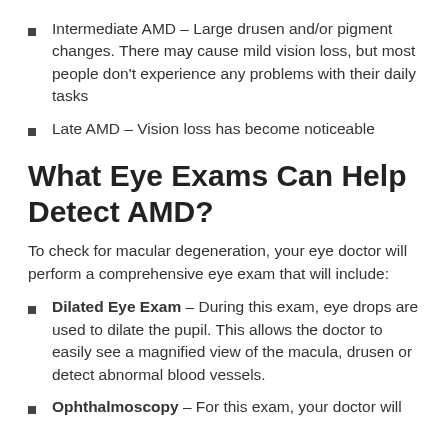Intermediate AMD – Large drusen and/or pigment changes. There may cause mild vision loss, but most people don't experience any problems with their daily tasks
Late AMD – Vision loss has become noticeable
What Eye Exams Can Help Detect AMD?
To check for macular degeneration, your eye doctor will perform a comprehensive eye exam that will include:
Dilated Eye Exam – During this exam, eye drops are used to dilate the pupil. This allows the doctor to easily see a magnified view of the macula, drusen or detect abnormal blood vessels.
Ophthalmoscopy – For this exam, your doctor will